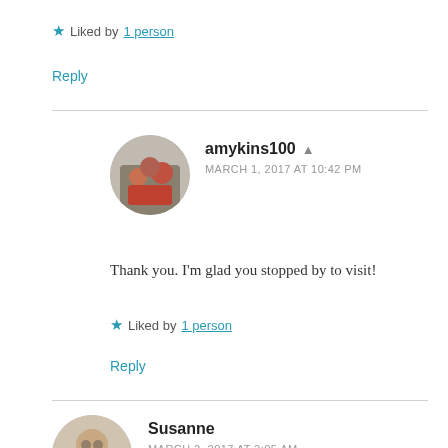★ Liked by 1 person
Reply
amykins100 ▲
MARCH 1, 2017 AT 10:42 PM
Thank you. I'm glad you stopped by to visit!
★ Liked by 1 person
Reply
Susanne
MARCH 2, 2017 AT 2:05 AM